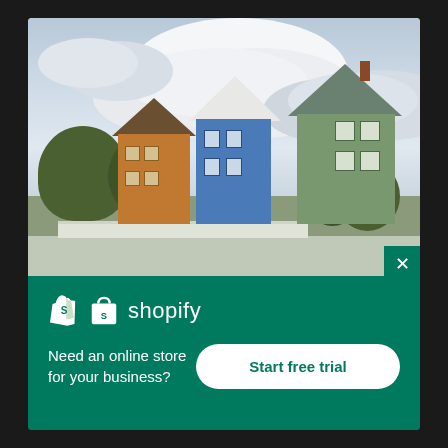[Figure (photo): Photo of colorful houses (orange, blue, green) with trees in foreground and cloudy sky in background, used as Shopify advertisement background image]
[Figure (logo): Shopify logo - white shopping bag icon with 'shopify' wordmark in white on green background]
Need an online store for your business?
Start free trial